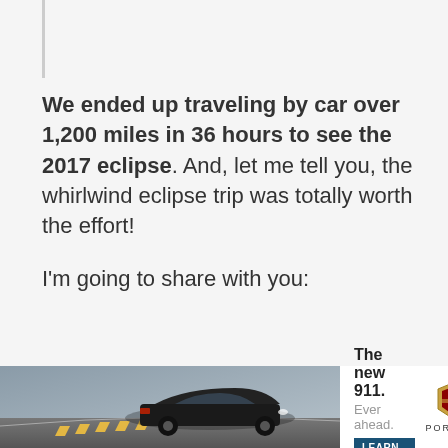We ended up traveling by car over 1,200 miles in 36 hours to see the 2017 eclipse. And, let me tell you, the whirlwind eclipse trip was totally worth the effort!
I'm going to share with you:
[Figure (illustration): Advertisement banner for Porsche 911 showing a black car on a curved road with text 'The new 911. Ever ahead.' and a 'LEARN MORE' button, plus the Porsche logo.]